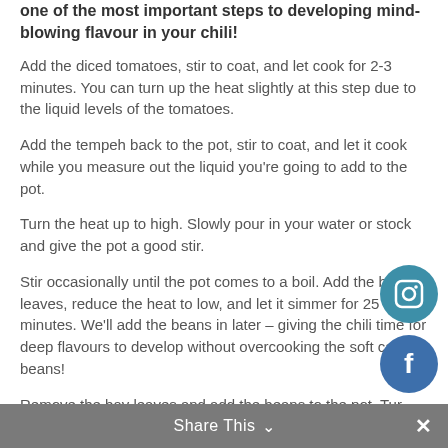one of the most important steps to developing mind-blowing flavour in your chili!
Add the diced tomatoes, stir to coat, and let cook for 2-3 minutes.  You can turn up the heat slightly at this step due to the liquid levels of the tomatoes.
Add the tempeh back to the pot, stir to coat, and let it cook while you measure out the liquid you're going to add to the pot.
Turn the heat up to high.  Slowly pour in your water or stock and give the pot a good stir.
Stir occasionally until the pot comes to a boil.  Add the bay leaves, reduce the heat to low, and let it simmer for 25 minutes.  We'll add the beans in later – giving the chili time for deep flavours to develop without overcooking the soft canned beans!
Remove the bay leaves and add the beans to the pot.  Turn the heat up to medium-low, stir, and let the chilli simmer another 15 minutes.
Add a bit more water if you feel the chilli is too thick.
[Figure (logo): Instagram circular icon in teal/blue]
[Figure (logo): Facebook circular icon in blue]
Share This ∨  ✕